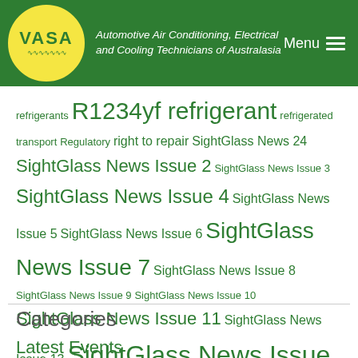VASA – Automotive Air Conditioning, Electrical and Cooling Technicians of Australasia | Menu
refrigerants R1234yf refrigerant refrigerated transport Regulatory right to repair SightGlass News 24 SightGlass News Issue 2 SightGlass News Issue 3 SightGlass News Issue 4 SightGlass News Issue 5 SightGlass News Issue 6 SightGlass News Issue 7 SightGlass News Issue 8 SightGlass News Issue 9 SightGlass News Issue 10 SightGlass News Issue 11 SightGlass News Issue 13 SightGlass News Issue 14 SightGlass News Issue 15 SightGlass News Issue 16 SightGlass News Issue 17 SightGlass News Issue 20 SightGlass News Issue 21 SightGlass News Issue 22 Sightglass News Issue 23 Sightglass News Issue 25 sightglass news issue 26 Training transport refrigeration VASA Wire & Gas
Categories
Latest Events